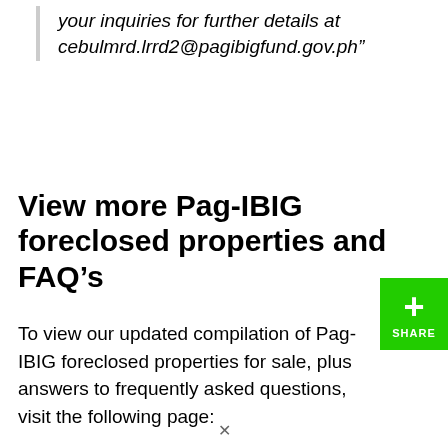your inquiries for further details at cebulmrd.lrrd2@pagibigfund.gov.ph"
View more Pag-IBIG foreclosed properties and FAQ’s
To view our updated compilation of Pag-IBIG foreclosed properties for sale, plus answers to frequently asked questions, visit the following page: